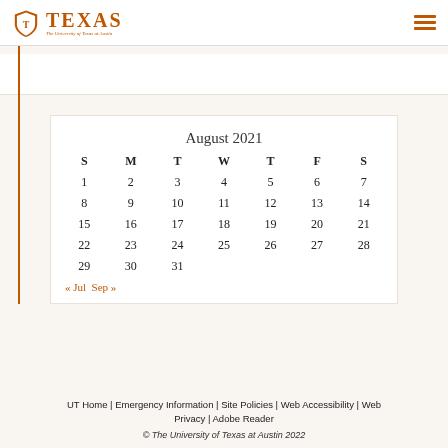The University of Texas at Austin
| S | M | T | W | T | F | S |
| --- | --- | --- | --- | --- | --- | --- |
| 1 | 2 | 3 | 4 | 5 | 6 | 7 |
| 8 | 9 | 10 | 11 | 12 | 13 | 14 |
| 15 | 16 | 17 | 18 | 19 | 20 | 21 |
| 22 | 23 | 24 | 25 | 26 | 27 | 28 |
| 29 | 30 | 31 |  |  |  |  |
UT Home | Emergency Information | Site Policies | Web Accessibility | Web Privacy | Adobe Reader © The University of Texas at Austin 2022